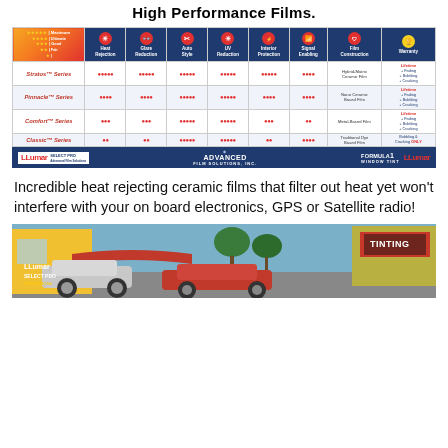High Performance Films.
[Figure (table-as-image): Comparison table of LLumar window film series (Stratos, Pinnacle, Comfort, Classic) showing Heat Rejection, Glare Reduction, Auto Style, UV Reduction, Interior Protection, Signal Enabling, Film Construction, and Warranty ratings using dot indicators.]
[Figure (infographic): Brand bar showing LLumar SelectPro, Advanced Film Solutions Inc., Formula One Window Tint, and LLumar logos on dark blue background.]
Incredible heat rejecting ceramic films that filter out heat yet won't interfere with your on board electronics, GPS or Satellite radio!
[Figure (photo): Exterior photo of a window tinting shop with cars parked outside, showing LLumar SelectPro and Formula One signage.]